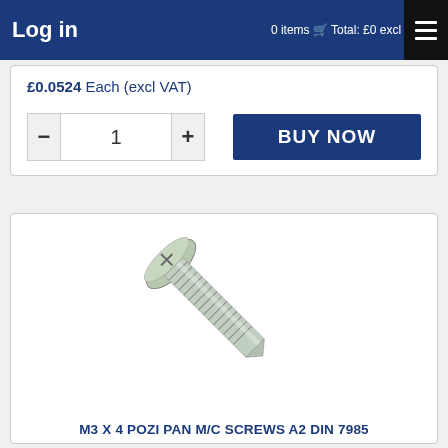Log in   0 items  Total: £0 excl VAT
£0.0524 Each (excl VAT)
- 1 +
BUY NOW
[Figure (photo): Photo of a stainless steel M3 x 4 Pozi pan head machine screw (A2 DIN 7985), shown diagonally from upper-left to lower-right on a white background.]
M3 X 4 POZI PAN M/C SCREWS A2 DIN 7985